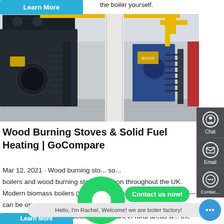the boiler yourself.
[Figure (photo): Industrial boiler room with large black and blue boilers, metal staircases, yellow pipes, in a white industrial facility.]
Wood Burning Stoves & Solid Fuel Heating | GoCompare
Mar 12, 2021 · Wood burning stoves, solid fuel boilers and wood burning stoves are common throughout the UK. Modern biomass boilers (which burn logs, pellets or wood chips— can be one of the most efficient heating solutions. Solid fuel heating is particularly important in rural areas w... the